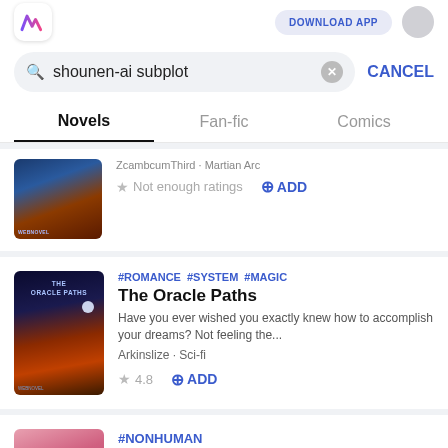[Figure (screenshot): App logo with stylized W in blue and pink gradient]
DOWNLOAD APP
shounen-ai subplot
CANCEL
Novels
Fan-fic
Comics
Not enough ratings
ADD
#ROMANCE  #SYSTEM  #MAGIC
The Oracle Paths
Have you ever wished you exactly knew how to accomplish your dreams? Not feeling the...
Arkinslize · Sci-fi
4.8
ADD
#NONHUMAN